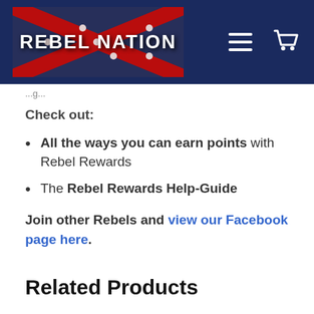[Figure (logo): Rebel Nation logo with confederate flag background and navigation icons (hamburger menu and shopping cart)]
Check out:
All the ways you can earn points with Rebel Rewards
The Rebel Rewards Help-Guide
Join other Rebels and view our Facebook page here.
Related Products